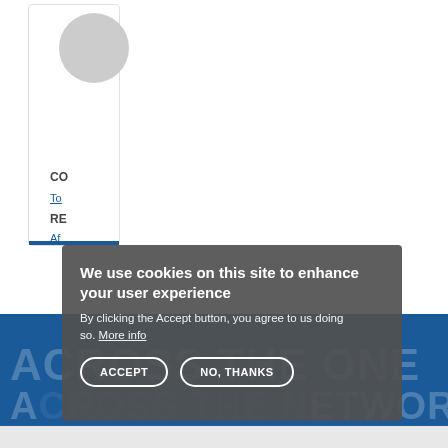[Figure (screenshot): Partial view of a profile card with a circular avatar placeholder, partially visible text labels (CO, To, RE, Af) and a blue bottom bar indicator]
CO
To
RE
Af
[Figure (screenshot): Blue section background with large semi-transparent white text reading 'ACROSS THE ONE' and 'ACROSS THE NETWORK']
We use cookies on this site to enhance your user experience
By clicking the Accept button, you agree to us doing so. More info
ACCEPT   NO, THANKS